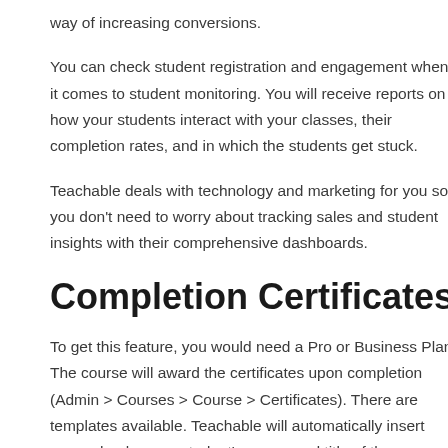way of increasing conversions.
You can check student registration and engagement when it comes to student monitoring. You will receive reports on how your students interact with your classes, their completion rates, and in which the students get stuck.
Teachable deals with technology and marketing for you so you don't need to worry about tracking sales and student insights with their comprehensive dashboards.
Completion Certificates
To get this feature, you would need a Pro or Business Plan. The course will award the certificates upon completion (Admin > Courses > Course > Certificates). There are templates available. Teachable will automatically insert your school name, student's name, and title of the course. You may change elements of your